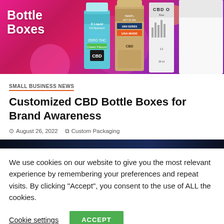[Figure (photo): CBD Bottle Boxes promotional banner image showing various CBD product bottles and packaging on a pink/magenta gradient background with white text 'Bottle Boxes']
SMALL BUSINESS NEWS
Customized CBD Bottle Boxes for Brand Awareness
August 26, 2022  Custom Packaging
[Figure (photo): Dark banner image, partially visible]
We use cookies on our website to give you the most relevant experience by remembering your preferences and repeat visits. By clicking “Accept”, you consent to the use of ALL the cookies.
Cookie settings  ACCEPT